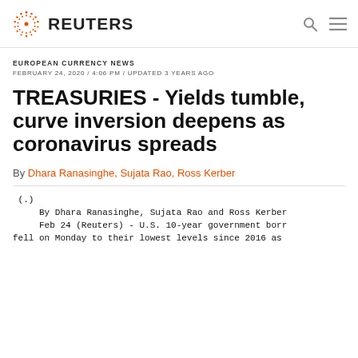REUTERS
EUROPEAN CURRENCY NEWS
FEBRUARY 24, 2020 / 4:06 PM / UPDATED 3 YEARS AGO
TREASURIES - Yields tumble, curve inversion deepens as coronavirus spreads
By Dhara Ranasinghe, Sujata Rao, Ross Kerber
(.) By Dhara Ranasinghe, Sujata Rao and Ross Kerber Feb 24 (Reuters) - U.S. 10-year government borr fell on Monday to their lowest levels since 2016 as